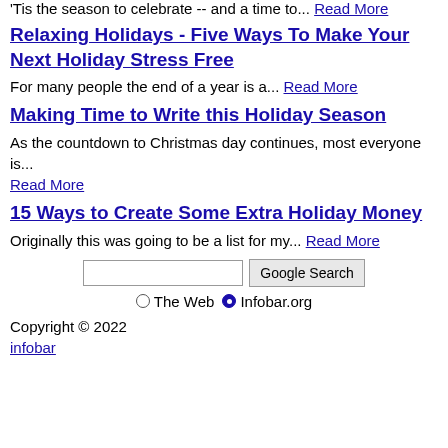'Tis the season to celebrate -- and a time to... Read More
Relaxing Holidays - Five Ways To Make Your Next Holiday Stress Free
For many people the end of a year is a... Read More
Making Time to Write this Holiday Season
As the countdown to Christmas day continues, most everyone is... Read More
15 Ways to Create Some Extra Holiday Money
Originally this was going to be a list for my... Read More
[Figure (other): Google Search box with radio buttons for The Web and Infobar.org]
Copyright © 2022
infobar